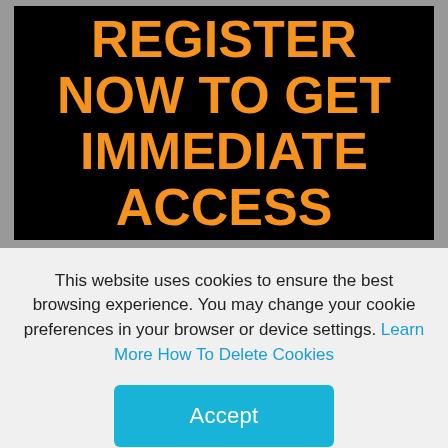[Figure (screenshot): Black banner with bold orange uppercase text reading REGISTER NOW TO GET IMMEDIATE ACCESS on a gray background]
This website uses cookies to ensure the best browsing experience. You may change your cookie preferences in your browser or device settings. Learn More How To Delete Cookies
Accept